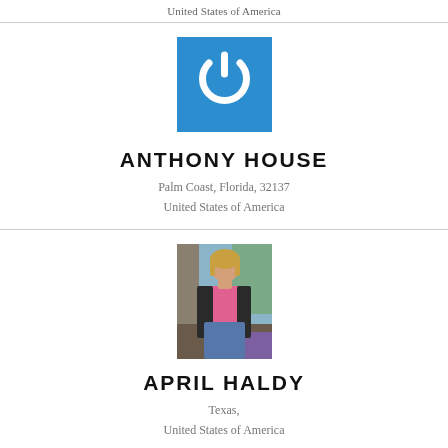United States of America
[Figure (logo): Blue square with white power button icon — Anthony House profile logo]
ANTHONY HOUSE
Palm Coast, Florida, 32137
United States of America
[Figure (photo): Photo of a woman in a pink top and dark blazer — April Haldy profile photo]
APRIL HALDY
Texas,
United States of America